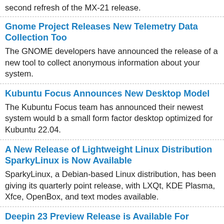second refresh of the MX-21 release.
Gnome Project Releases New Telemetry Data Collection Too
The GNOME developers have announced the release of a new tool to collect anonymous information about your system.
Kubuntu Focus Announces New Desktop Model
The Kubuntu Focus team has announced their newest system would b a small form factor desktop optimized for Kubuntu 22.04.
A New Release of Lightweight Linux Distribution SparkyLinux is Now Available
SparkyLinux, a Debian-based Linux distribution, has been giving its quarterly point release, with LXQt, KDE Plasma, Xfce, OpenBox, and text modes available.
Deepin 23 Preview Release is Available For Testing
The developers of Deepin have made a preview release of their latest offering available with three exciting new features.
The First Point Release For Ubuntu 22.04 is Now Available
Canonical has released the first point upgrade for Jammy Jellyfish which includes important new toolchains and fixes.